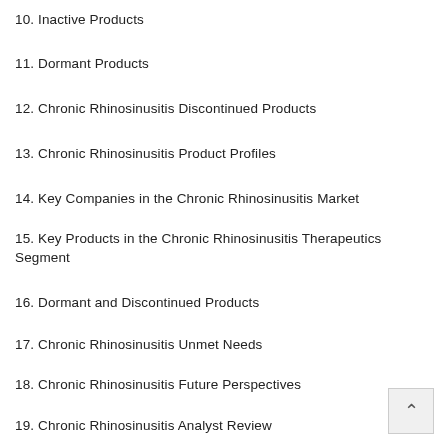10. Inactive Products
11. Dormant Products
12. Chronic Rhinosinusitis Discontinued Products
13. Chronic Rhinosinusitis Product Profiles
14. Key Companies in the Chronic Rhinosinusitis Market
15. Key Products in the Chronic Rhinosinusitis Therapeutics Segment
16. Dormant and Discontinued Products
17. Chronic Rhinosinusitis Unmet Needs
18. Chronic Rhinosinusitis Future Perspectives
19. Chronic Rhinosinusitis Analyst Review